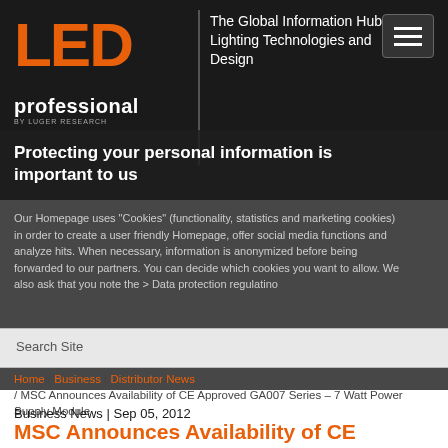[Figure (logo): LED professional logo with orange LED text and white 'professional' below, BY LUGER RESEARCH tagline]
The Global Information Hub for Lighting Technologies and Design
Protecting your personal information is important to us
Our Homepage uses "Cookies" (functionality, statistics and marketing cookies) in order to create a user friendly Homepage, offer social media functions and analyze hits. When necessary, information is anonymized before being forwarded to our partners. You can decide which cookies you want to allow. We also ask that you note the > Data protection regulation
Search Site
Home / Business / Distributor News / MSC Announces Availability of CE Approved GA007 Series – 7 Watt Power Supply Module
Business News | Sep 05, 2012
MSC Announces Availability of CE Approved GA007 Series – 7 Watt Power Supply Module
The entire family of power supply modules with ratings from 3 W to 30 W from YDS now has received CE approval and are immediately available at MSC. The latest addition to this family